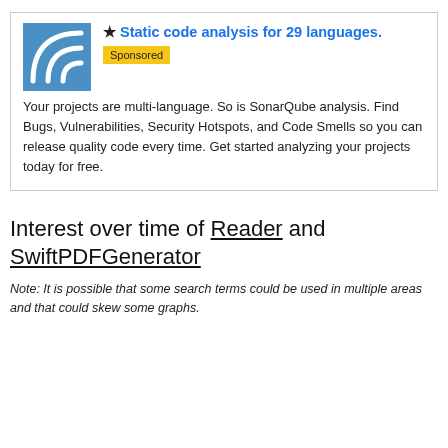[Figure (logo): SonarQube logo: blue square with white curved lines resembling signal/sonar waves]
★ Static code analysis for 29 languages.
Sponsored
Your projects are multi-language. So is SonarQube analysis. Find Bugs, Vulnerabilities, Security Hotspots, and Code Smells so you can release quality code every time. Get started analyzing your projects today for free.
Interest over time of Reader and SwiftPDFGenerator
Note: It is possible that some search terms could be used in multiple areas and that could skew some graphs.